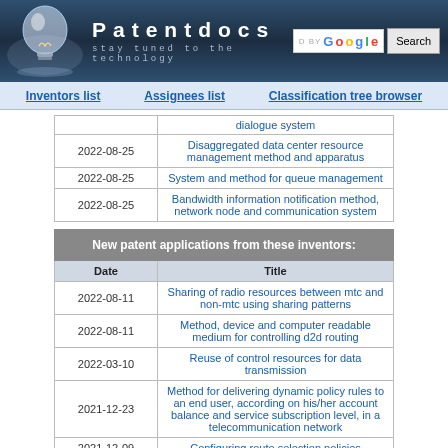[Figure (screenshot): Patentdocs website header with lightbulb logo, site title 'Patentdocs', tagline 'stay tuned to the technology', Google search box and Search button]
Inventors list   Assignees list   Classification tree browser
| Date | Title |
| --- | --- |
|  | dialogue system |
| 2022-08-25 | Disaggregated data center resource management method and apparatus |
| 2022-08-25 | System and method for queue management |
| 2022-08-25 | Bandwidth information notification method, network node and communication system |
| Date | Title |
| --- | --- |
| New patent applications from these inventors: |  |
| Date | Title |
| 2022-08-11 | Sharing of radio resources between mtc and non-mtc using sharing patterns |
| 2022-08-11 | Method, device and computer readable medium for controlling d2d routing |
| 2022-03-10 | Reuse of control resources for data transmission |
| 2021-12-23 | Method for delivering dynamic policy rules to an end user, according on his/her account balance and service subscription level, in a telecommunication network |
| 2021-12-09 | Configuring route selection policies |